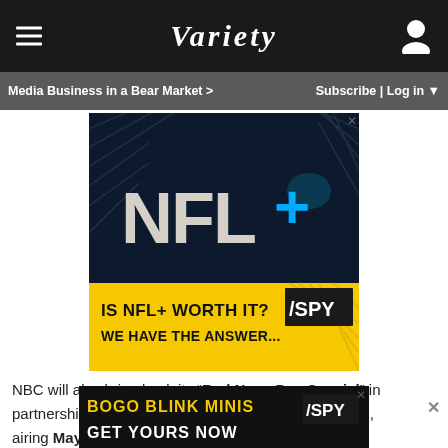Variety
Media Business in a Bear Market >    Subscribe | Log in
[Figure (photo): NFL+ advertisement banner: dark background with large NFL+ logo text and blue glowing plus sign. Bottom strip shows yellow/black design with text 'IS NFL+ WORTH IT? WE HAVE THE ANSWER...' and '/SPY' logo]
NBC will also bring back its "Red Nose Day Special" in partnership with charity organization Comic Relief Inc., airing May 25. The campaign to end child poverty continues with be
[Figure (photo): Bottom advertisement: dark background with text 'BOGO BLINK MINIS GET YOURS NOW' in yellow/white and /SPY logo]